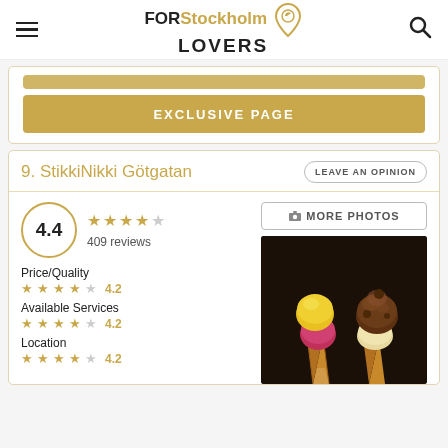FOR Stockholm LOVERS
EXCLUSIVE PAGE
9. StikkiNikki Götgatan
LEAVE AN OPINION
4.4 — 409 reviews — 5 stars rating
MORE PHOTOS
Price/Quality 4.2
Available Services 4.2
Location 4.2
[Figure (photo): Three ice cream cones held up — one with pink/yellow scoops, one with chocolate scoop, on a dark background]